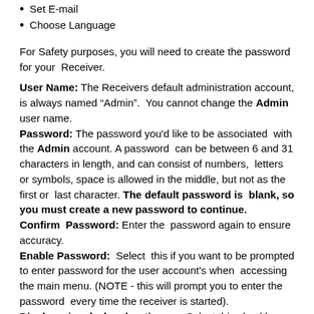Set E-mail
Choose Language
For Safety purposes, you will need to create the password for your  Receiver.
User Name: The Receivers default administration account, is always named “Admin”.  You cannot change the Admin user name.
Password: The password you’d like to be associated  with the Admin account. A password  can be between 6 and 31 characters in length, and can consist of numbers,  letters or symbols, space is allowed in the middle, but not as the first or  last character. The default password is  blank, so you must create a new password to continue.
Confirm  Password: Enter the  password again to ensure accuracy.
Enable Password:  Select  this if you want to be prompted to enter password for the user account’s when  accessing the main menu. (NOTE - this will prompt you to enter the password  every time the receiver is started).
Display wizard when booting up: Select this checkbox only if you want the Receiver  to automatically run the configuration wizard when the receiver boots up. The wizard can also be activated at any time by clicking the Wizard option on the main
activated at any time by clicking the Wizard option on the main